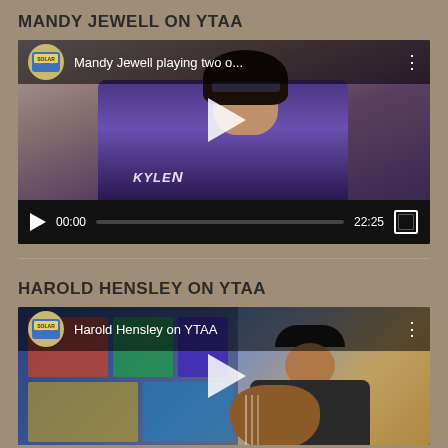MANDY JEWELL ON YTAA
[Figure (screenshot): Embedded video player showing Mandy Jewell playing guitar. Video title overlay: 'Mandy Jewell playing two o...' with cassette tape channel icon. Controls show 00:00 time, progress bar, 22:25 duration, and fullscreen button.]
HAROLD HENSLEY ON YTAA
[Figure (screenshot): Embedded video player showing Harold Hensley playing guitar with a hat on. Video title overlay: 'Harold Hensley on YTAA' with cassette tape channel icon. Partially visible, showing top portion of video.]